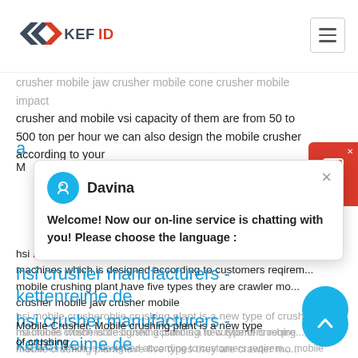[Figure (logo): KEFID company logo with red and dark grey arrow/chevron shapes and text 'KEFID' in bold]
crusher mobile jaw crusher mobile cone crusher mobile impact crusher and mobile vsi capacity of them are from 50 to 500 ton per hour we can also design the mobile crusher according to your
a...obile...i...Equi...
M...
c... hsi mobile crusheroblie crushing plant is a new type of crushing machines which is designed according to customers reqirem... mobile crushing plant have five types they are crawler mo... crusher mobile jaw crusher mobile
hsi crusher manufacturers - kettenreime.de
Mobile Crusher. Mobile crushing plant is a new type of crushing machines which is designed according to customers reqire...